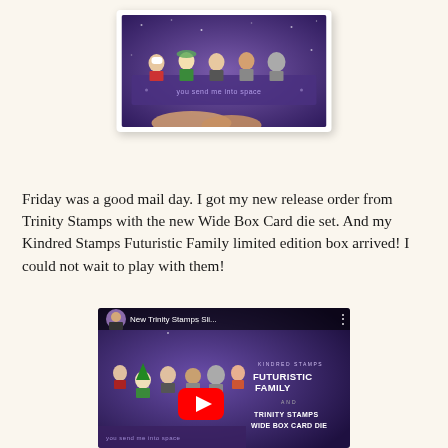[Figure (photo): Photo of a handmade box card with cartoon characters standing inside it on a purple starry background, being held by a hand]
Friday was a good mail day. I got my new release order from Trinity Stamps with the new Wide Box Card die set. And my Kindred Stamps Futuristic Family limited edition box arrived! I could not wait to play with them!
[Figure (screenshot): YouTube video thumbnail showing 'New Trinity Stamps Sli...' with cartoon characters from Futuristic Family stamp set and text 'KINDRED STAMPS FUTURISTIC FAMILY AND TRINITY STAMPS WIDE BOX CARD DIE' on a purple background]